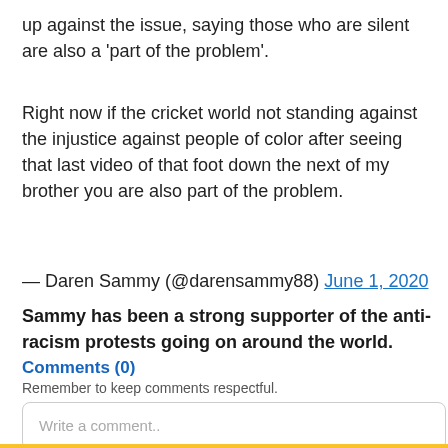up against the issue, saying those who are silent are also a 'part of the problem'.
Right now if the cricket world not standing against the injustice against people of color after seeing that last video of that foot down the next of my brother you are also part of the problem.
— Daren Sammy (@darensammy88) June 1, 2020
Sammy has been a strong supporter of the anti-racism protests going on around the world.
Comments (0)
Remember to keep comments respectful.
Write a comment..